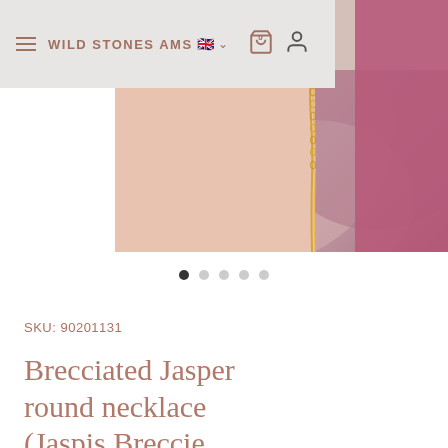WILD STONES AMS
[Figure (photo): Close-up photo of a gold chain necklace with a pendant, worn against a skin-toned background with a pink/magenta object in the background.]
SKU: 90201131
Brecciated Jasper round necklace (Jaspis Breccie